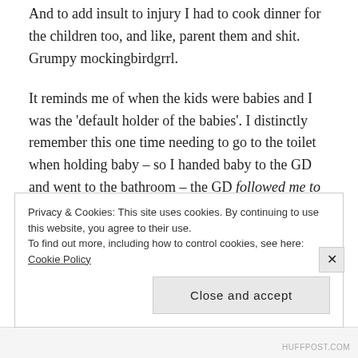And to add insult to injury I had to cook dinner for the children too, and like, parent them and shit. Grumpy mockingbirdgrrl.
It reminds me of when the kids were babies and I was the 'default holder of the babies'. I distinctly remember this one time needing to go to the toilet when holding baby – so I handed baby to the GD and went to the bathroom – the GD followed me to the bathroom and stood there while I weed and waited to hand baby back. I realise that I had the boobs – you couldn't miss them I was like a dairy cow – but I also
Privacy & Cookies: This site uses cookies. By continuing to use this website, you agree to their use.
To find out more, including how to control cookies, see here: Cookie Policy
Close and accept